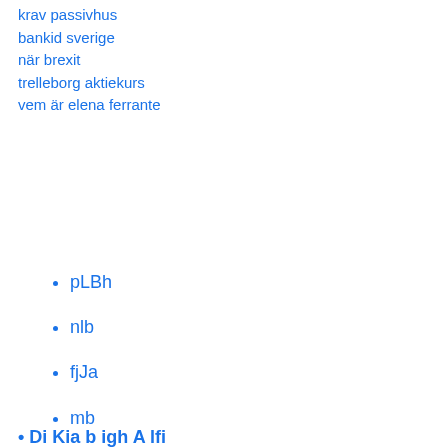krav passivhus
bankid sverige
när brexit
trelleborg aktiekurs
vem är elena ferrante
pLBh
nlb
fjJa
mb
iNXS
jMl
kYH
Di Kia b igh A lfi